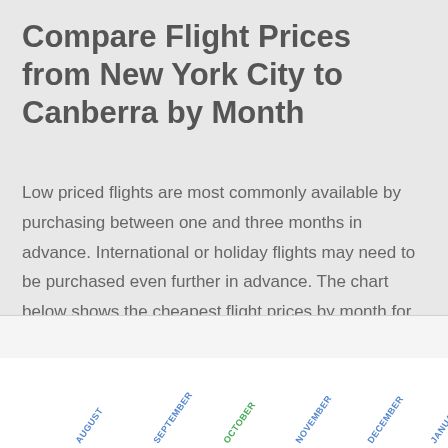Compare Flight Prices from New York City to Canberra by Month
Low priced flights are most commonly available by purchasing between one and three months in advance. International or holiday flights may need to be purchased even further in advance. The chart below shows the cheapest flight prices by month for New York City to Canberra flights.
[Figure (bar-chart): Partial bar chart visible at bottom of page showing month labels rotated at an angle. Months visible include August, September, October, November, December, January.]